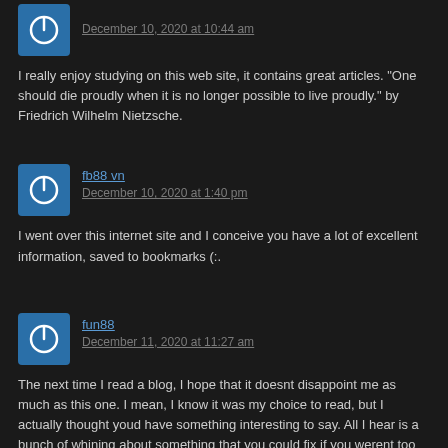[Figure (illustration): Blue avatar icon with power symbol]
December 10, 2020 at 10:44 am
I really enjoy studying on this web site, it contains great articles. "One should die proudly when it is no longer possible to live proudly." by Friedrich Wilhelm Nietzsche.
[Figure (illustration): Blue avatar icon with power symbol]
fb88 vn
December 10, 2020 at 1:40 pm
I went over this internet site and I conceive you have a lot of excellent information, saved to bookmarks (:.
[Figure (illustration): Blue avatar icon with power symbol]
fun88
December 11, 2020 at 11:27 am
The next time I read a blog, I hope that it doesnt disappoint me as much as this one. I mean, I know it was my choice to read, but I actually thought youd have something interesting to say. All I hear is a bunch of whining about something that you could fix if you werent too busy looking for attention.
[Figure (illustration): Blue avatar icon with power symbol]
nhacaivn88
December 11, 2020 at 2:03 pm